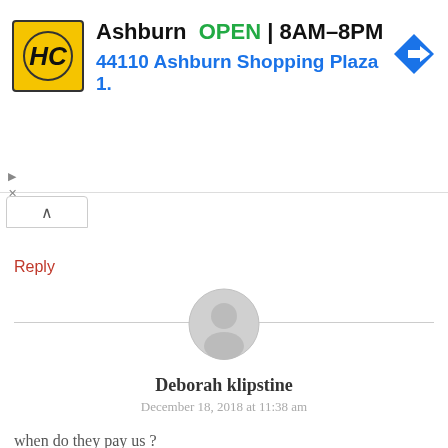[Figure (screenshot): Advertisement banner for HC (Home Care) store in Ashburn. Shows store logo (yellow background with HC text), 'Ashburn OPEN 8AM-8PM' and address '44110 Ashburn Shopping Plaza 1.' with a navigation arrow icon.]
^
Reply
[Figure (illustration): Generic user avatar - grey circle with silhouette of a person]
Deborah klipstine
December 18, 2018 at 11:38 am
when do they pay us ?
Reply
[Figure (illustration): Generic user avatar - grey circle with silhouette of a person (partially visible at bottom)]